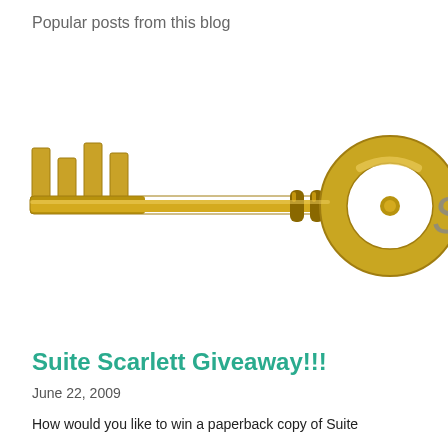Popular posts from this blog
[Figure (photo): Close-up photograph of a golden skeleton key. The key has teeth on the left side, a long shaft with decorative rings near the bow, and a circular bow (ring) on the right. A partial letter 'S' is visible at the far right edge.]
Suite Scarlett Giveaway!!!
June 22, 2009
How would you like to win a paperback copy of Suite